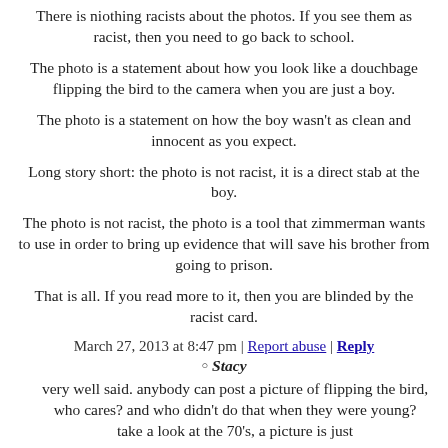There is niothing racists about the photos. If you see them as racist, then you need to go back to school.
The photo is a statement about how you look like a douchbage flipping the bird to the camera when you are just a boy.
The photo is a statement on how the boy wasn't as clean and innocent as you expect.
Long story short: the photo is not racist, it is a direct stab at the boy.
The photo is not racist, the photo is a tool that zimmerman wants to use in order to bring up evidence that will save his brother from going to prison.
That is all. If you read more to it, then you are blinded by the racist card.
March 27, 2013 at 8:47 pm | Report abuse | Reply
Stacy
very well said. anybody can post a picture of flipping the bird, who cares? and who didn't do that when they were young? take a look at the 70's, a picture is just